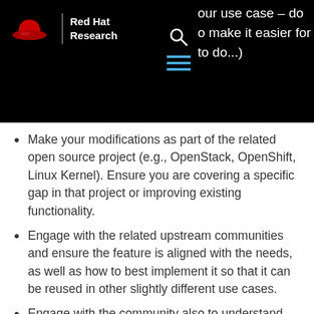Red Hat Research
our use case – do o make it easier for to do...)
Make your modifications as part of the related open source project (e.g., OpenStack, OpenShift, Linux Kernel). Ensure you are covering a specific gap in that project or improving existing functionality.
Engage with the related upstream communities and ensure the feature is aligned with the needs, as well as how to best implement it so that it can be reused in other slightly different use cases.
Engage with the community also to understand their standards for code writing and submission. For example about testing coverage that ensures that your feature (if